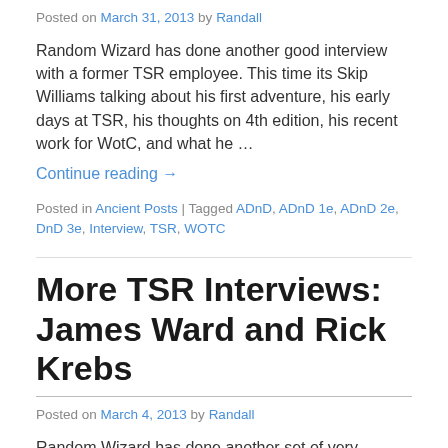Posted on March 31, 2013 by Randall
Random Wizard has done another good interview with a former TSR employee. This time its Skip Williams talking about his first adventure, his early days at TSR, his thoughts on 4th edition, his recent work for WotC, and what he …
Continue reading →
Posted in Ancient Posts | Tagged ADnD, ADnD 1e, ADnD 2e, DnD 3e, Interview, TSR, WOTC
More TSR Interviews: James Ward and Rick Krebs
Posted on March 4, 2013 by Randall
Random Wizard has done another set of very interesting